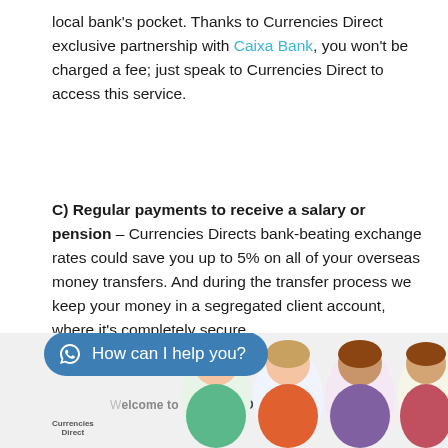local bank's pocket. Thanks to Currencies Direct exclusive partnership with Caixa Bank, you won't be charged a fee; just speak to Currencies Direct to access this service.
C) Regular payments to receive a salary or pension – Currencies Directs bank-beating exchange rates could save you up to 5% on all of your overseas money transfers. And during the transfer process we keep your money in a segregated client account, where it's completely secure.
Experts on currency exchange in Alicante
[Figure (screenshot): Bottom portion showing a WhatsApp chat button reading 'How can I help you?' in teal/blue pill shape, and a partial banner reading 'Welcome to Currencies Direct' with illustrated avatar characters and a Currencies Direct logo badge.]